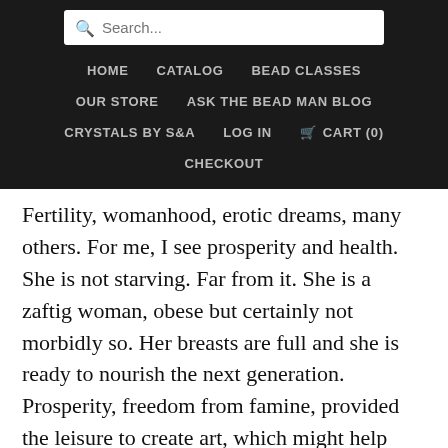Search... HOME CATALOG BEAD CLASSES OUR STORE ASK THE BEAD MAN BLOG CRYSTALS BY S&A LOG IN CART (0) CHECKOUT
Fertility, womanhood, erotic dreams, many others. For me, I see prosperity and health. She is not starving. Far from it. She is a zaftig woman, obese but certainly not morbidly so. Her breasts are full and she is ready to nourish the next generation.  Prosperity, freedom from famine, provided the leisure to create art, which might help explain the timing of this masterpiece. Willendorf incidentally, is an Austrian town where